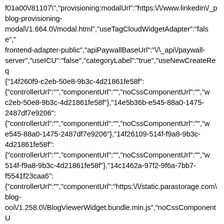f01a00/81107","provisioning:modalUrl":"https://www.linkedin/_p blog-provisioning-modal/1.664.0/modal.html","useTagCloudWidgetAdapter":"false","frontend-adapter-public","apiPaywallBaseUrl":"\/_api\/paywall-server","useICU":"false","categoryLabel":"true","useNewCreateReq {"14f260f9-c2eb-50e8-9b3c-4d21861fe58f": {"controllerUrl":"","componentUrl":"","noCssComponentUrl":"","w c2eb-50e8-9b3c-4d21861fe58f"},"14e5b36b-e545-88a0-1475-2487df7e9206": {"controllerUrl":"","componentUrl":"","noCssComponentUrl":"","w e545-88a0-1475-2487df7e9206"},"14f26109-514f-f9a8-9b3c-4d21861fe58f": {"controllerUrl":"","componentUrl":"","noCssComponentUrl":"","w 514f-f9a8-9b3c-4d21861fe58f"},"14c1462a-97f2-9f6a-7bb7-f5541f23caa6": {"controllerUrl":"","componentUrl":"https:\/\/static.parastorage.com\ blog-ooi/1.258.0/BlogViewerWidget.bundle.min.js","noCssComponentU 97f2-9f6a-7bb7-f5541f23caa6"},"14e5b39b-6d47-99c3-3ee5-cee1c2574c89": {"controllerUrl":"","componentUrl":"","noCssComponentUrl":"","w 6d47-99c3-3ee5-cee1c2574c89"},"1515a9e7-b579-fbbb-43fc-0e3051c14803": {"controllerUrl":"","componentUrl":"","noCssComponentUrl":"","w b579-fbbb-43fc-0e3051c14803"},"2f3d2c69-2bc4-4519-bd72-0a63dd92577f":